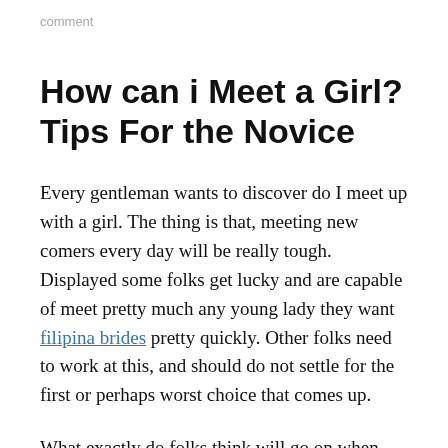comment
How can i Meet a Girl? Tips For the Novice
Every gentleman wants to discover do I meet up with a girl. The thing is that, meeting new comers every day will be really tough. Displayed some folks get lucky and are capable of meet pretty much any young lady they want filipina brides pretty quickly. Other folks need to work at this, and should do not settle for the first or perhaps worst choice that comes up.
What exactly do folks think will go on when